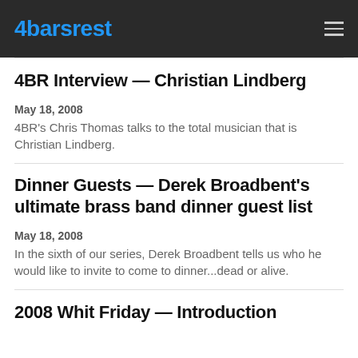4barsrest
4BR Interview — Christian Lindberg
May 18, 2008
4BR's Chris Thomas talks to the total musician that is Christian Lindberg.
Dinner Guests — Derek Broadbent's ultimate brass band dinner guest list
May 18, 2008
In the sixth of our series, Derek Broadbent tells us who he would like to invite to come to dinner...dead or alive.
2008 Whit Friday — Introduction